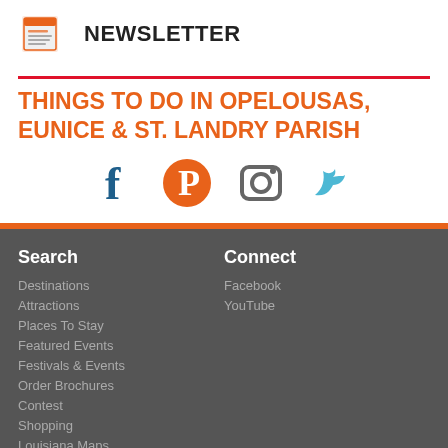[Figure (illustration): Newsletter icon — orange newspaper/document graphic]
NEWSLETTER
THINGS TO DO IN OPELOUSAS, EUNICE & ST. LANDRY PARISH
[Figure (infographic): Social media icons: Facebook (dark teal 'f'), Pinterest (orange circle with 'P'), Instagram (grey camera icon), Twitter (light blue bird)]
Search
Connect
Destinations
Facebook
Attractions
YouTube
Places To Stay
Featured Events
Festivals & Events
Order Brochures
Contest
Shopping
Louisiana Maps
About
Legal